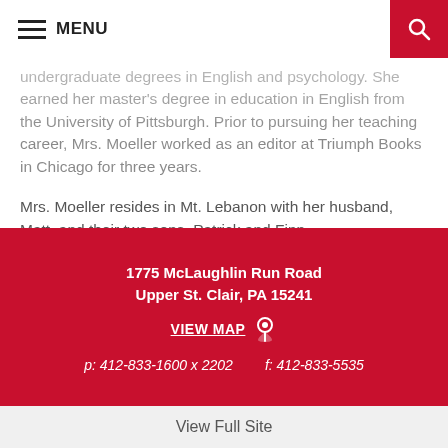MENU
undergraduate degrees in English and psychology. She earned her master's degree in education in English from the University of Pittsburgh. Prior to pursuing her teaching career, Mrs. Moeller worked as an editor at Triumph Books in Chicago for three years.
Mrs. Moeller resides in Mt. Lebanon with her husband, Matt, and their two sons, Patrick and Finn.
1775 McLaughlin Run Road Upper St. Clair, PA 15241
VIEW MAP
p: 412-833-1600 x 2202   f: 412-833-5535
View Full Site